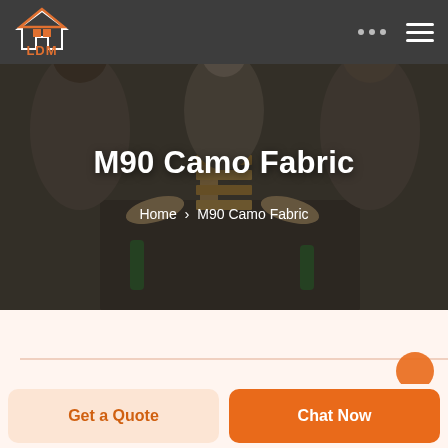[Figure (screenshot): Website screenshot showing LDM logo on dark navbar with three dots and hamburger menu icons, hero section with people playing Jenga in background (darkened overlay), large white title M90 Camo Fabric, breadcrumb navigation Home > M90 Camo Fabric, a light peach lower content area with partial orange circle, and two bottom buttons: Get a Quote and Chat Now]
M90 Camo Fabric
Home > M90 Camo Fabric
Get a Quote
Chat Now